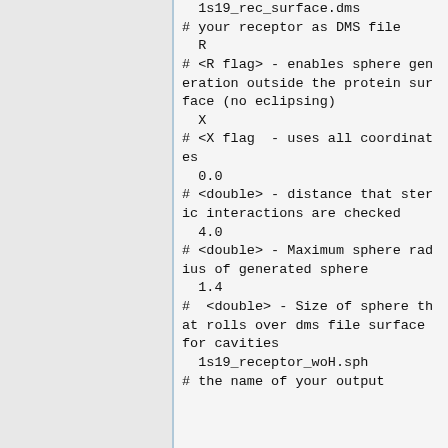1s19_rec_surface.dms
# your receptor as DMS file
  R
# <R flag> - enables sphere generation outside the protein surface (no eclipsing)
  X
# <X flag  - uses all coordinates
  0.0
# <double> - distance that steric interactions are checked
  4.0
# <double> - Maximum sphere radius of generated sphere
  1.4
#  <double> - Size of sphere that rolls over dms file surface for cavities
  1s19_receptor_woH.sph
# the name of your output